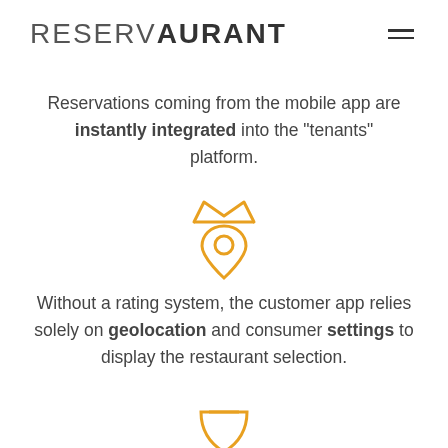RESERVAURANT
Reservations coming from the mobile app are instantly integrated into the "tenants" platform.
[Figure (illustration): Orange crown and location pin icon]
Without a rating system, the customer app relies solely on geolocation and consumer settings to display the restaurant selection.
[Figure (illustration): Orange shield/cup icon, partially visible at bottom]